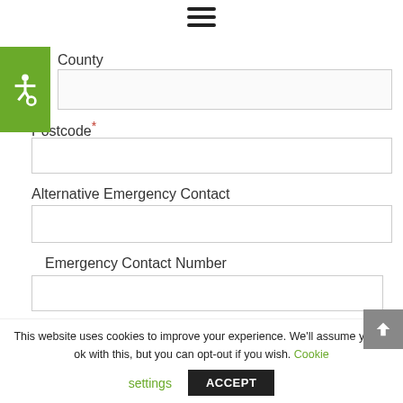≡ (hamburger menu icon)
[Figure (illustration): Green accessibility/wheelchair icon badge on left side]
County
Postcode *
Alternative Emergency Contact
Emergency Contact Number
This website uses cookies to improve your experience. We'll assume you're ok with this, but you can opt-out if you wish. Cookie settings ACCEPT